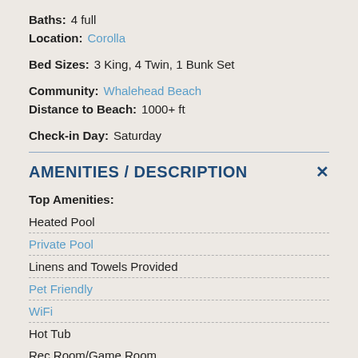Baths: 4 full
Location: Corolla
Bed Sizes: 3 King, 4 Twin, 1 Bunk Set
Community: Whalehead Beach
Distance to Beach: 1000+ ft
Check-in Day: Saturday
AMENITIES / DESCRIPTION
Top Amenities:
Heated Pool
Private Pool
Linens and Towels Provided
Pet Friendly
WiFi
Hot Tub
Rec Room/Game Room